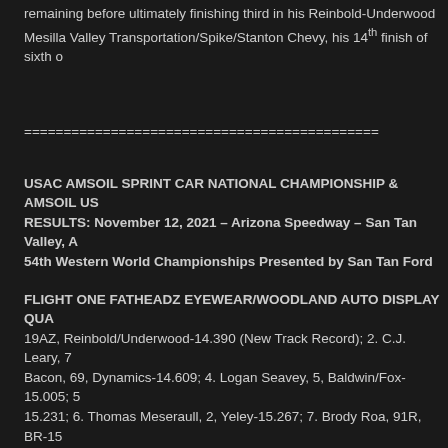remaining before ultimately finishing third in his Reinbold-Underwood Mesilla Valley Transportation/Spike/Stanton Chevy, his 14th finish of sixth o
===========================================
USAC AMSOIL SPRINT CAR NATIONAL CHAMPIONSHIP & AMSOIL US RESULTS: November 12, 2021 – Arizona Speedway – San Tan Valley, A 54th Western World Championships Presented by San Tan Ford
FLIGHT ONE FATHEADZ EYEWEAR/WOODLAND AUTO DISPLAY QUA 19AZ, Reinbold/Underwood-14.390 (New Track Record); 2. C.J. Leary, 7 Bacon, 69, Dynamics-14.609; 4. Logan Seavey, 5, Baldwin/Fox-15.005; 5 15.231; 6. Thomas Meseraull, 2, Yeley-15.267; 7. Brody Roa, 91R, BR-15 Napier-15.290; 9. Jake Helsel, 44H, Helsel-15.415; 10. Charles Davis Jr., Calderwood, 6, Calderwood-15.548; 12. Verne Sweeney, 98, Tracy-15.590 15.610; 14. Tye Mihocko, 38, Crossno-15.677; 15. Austin Grabowski, 72, St. James, 7K, St. James-15.771; 17. Spencer Hill, 7D7, West-16.061; 1 16.670; 19. Shane Cottle, 74x, Hodges-19.960.
FLIGHT TWO FATHEADZ EYEWEAR/WOODLAND AUTO DISPLAY QU Jr., 9K, KT-14.700; 2. Jake Swanson, 21AZ, Team AZ-14.723; 3. Chris Wi Sterling Cling, 34, Cling-15.003; 5. Damion Gardner, 1, Alexander-15. Sortish-15.000; 7. Justin Grant, 4, TOPP-15.157; 8. Eddie Tafoya